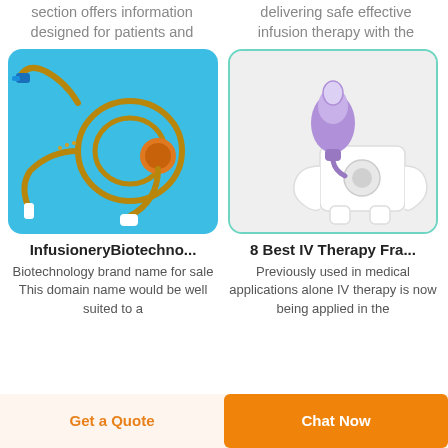section offers information designed for patients and
delivering safe effective infusion therapy with the
[Figure (photo): Medical infusion tube/catheter coiled on a blue background with a small circular orange component and blue connector]
[Figure (photo): IV therapy needleless connector (purple/clear) inserted into a white IV pole bracket/holder on a white background]
InfusioneryBiotechno...
8 Best IV Therapy Fra...
Biotechnology brand name for sale This domain name would be well suited to a
Previously used in medical applications alone IV therapy is now being applied in the
Get a Quote
Chat Now